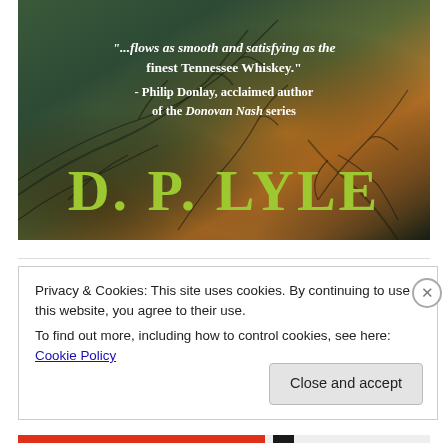[Figure (illustration): Book cover image showing D.P. Lyle with a dark moody background of trees/branches in dark teal and amber tones. A quote reads: '...flows as smooth and satisfying as the finest Tennessee Whiskey.' - Philip Donlay, acclaimed author of the Donovan Nash series. The author name 'D. P. LYLE' appears in large yellow-green text at the bottom.]
Privacy & Cookies: This site uses cookies. By continuing to use this website, you agree to their use.
To find out more, including how to control cookies, see here: Cookie Policy
Close and accept